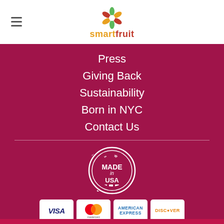[Figure (logo): Smartfruit logo with colorful snowflake/flower icon above the text 'smartfruit' in orange and red]
Press
Giving Back
Sustainability
Born in NYC
Contact Us
[Figure (illustration): Made in USA circular badge/seal with stars and vertical stripes]
[Figure (illustration): Payment method icons: VISA, Mastercard, American Express, Discover]
© Copyright 2021 Smartfruit.